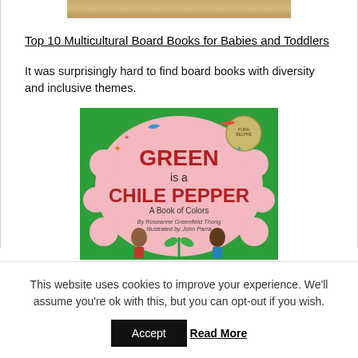[Figure (photo): Top portion of a book cover image cropped at the top edge]
Top 10 Multicultural Board Books for Babies and Toddlers
It was surprisingly hard to find board books with diversity and inclusive themes.
[Figure (photo): Book cover of 'Green is a Chile Pepper: A Book of Colors' by Roseanne Greenfield Thong, illustrated by John Parra. Features two children on a pink background with a green border and a Pura Belpré medal.]
This website uses cookies to improve your experience. We'll assume you're ok with this, but you can opt-out if you wish.
Accept   Read More